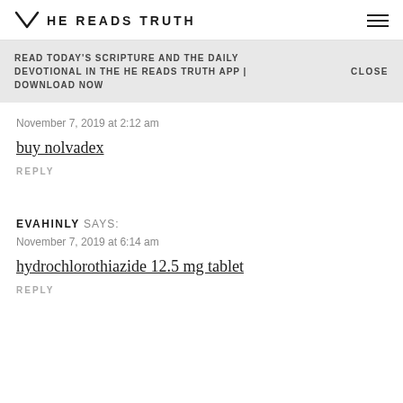HE READS TRUTH
READ TODAY'S SCRIPTURE AND THE DAILY DEVOTIONAL IN THE HE READS TRUTH APP | DOWNLOAD NOW  CLOSE
November 7, 2019 at 2:12 am
buy nolvadex
REPLY
EVAHINLY SAYS:
November 7, 2019 at 6:14 am
hydrochlorothiazide 12.5 mg tablet
REPLY